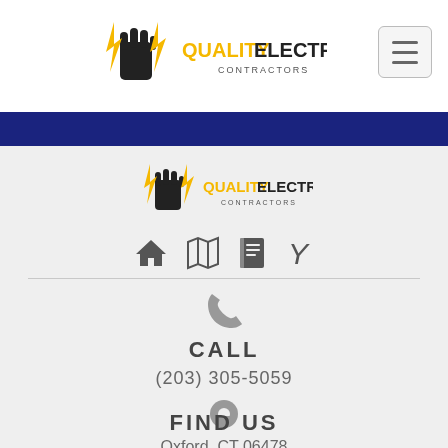[Figure (logo): Quality Electrical Contractors logo with fist and lightning bolt, shown in top navigation header]
[Figure (other): Hamburger/toggle menu button in top right corner]
[Figure (other): Dark blue navigation banner bar]
[Figure (logo): Quality Electrical Contractors logo repeated in footer area]
[Figure (other): Social/navigation icons row: home, map, book, Y symbol]
[Figure (other): Phone icon (gray)]
CALL
(203) 305-5059
[Figure (other): Map/location pin icon (gray)]
FIND US
Oxford, CT 06478